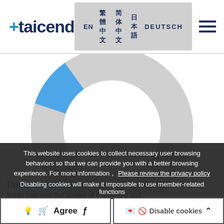taicend | EN 繁體中文 简体中文 日本語 DEUTSCH
[Figure (donut-chart): Partial donut/ring chart. A large gray ring with a small blue filled arc segment in the lower-right quadrant, suggesting a small percentage value.]
This website uses cookies to collect necessary user browsing behaviors so that we can provide you with a better browsing experience. For more information， Please review the privacy policy
Disabling cookies will make it impossible to use member-related functions
Upper Release Paper
It can maintain the quality of the colloid and
Agree
Disable cookies